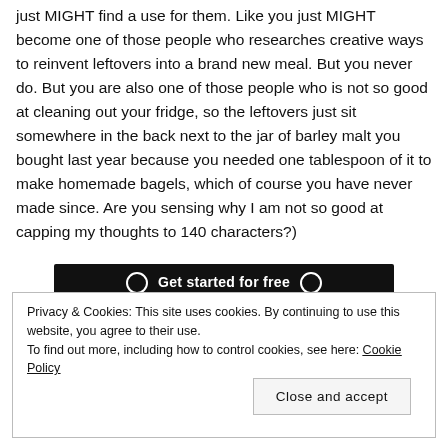just MIGHT find a use for them. Like you just MIGHT become one of those people who researches creative ways to reinvent leftovers into a brand new meal. But you never do. But you are also one of those people who is not so good at cleaning out your fridge, so the leftovers just sit somewhere in the back next to the jar of barley malt you bought last year because you needed one tablespoon of it to make homemade bagels, which of course you have never made since. Are you sensing why I am not so good at capping my thoughts to 140 characters?)
[Figure (other): Dark button/banner reading 'Get started for free']
Privacy & Cookies: This site uses cookies. By continuing to use this website, you agree to their use.
To find out more, including how to control cookies, see here: Cookie Policy
Close and accept